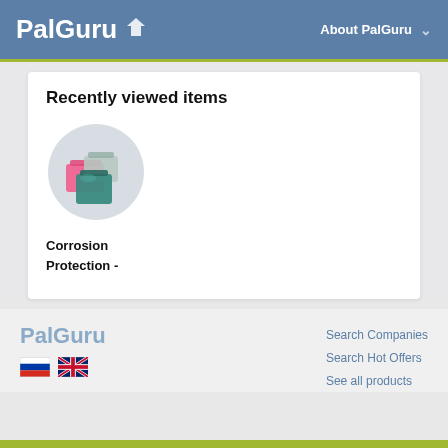PalGuru — About PalGuru
Recently viewed items
[Figure (photo): Product thumbnail showing pink and metallic/teal corrosion protection bags]
Corrosion Protection -
[Figure (logo): PalGuru footer logo text in grey-blue]
[Figure (other): Russian flag and UK flag icons]
Search Companies
Search Hot Offers
See all products